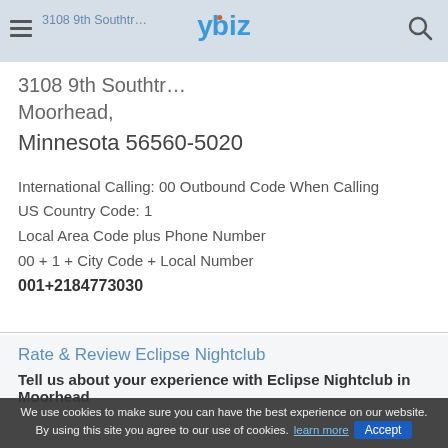ybiz — 3108 9th Southtr... (address truncated), Moorhead
3108 9th Southtr... Moorhead,
Minnesota 56560-5020
International Calling: 00 Outbound Code When Calling
US Country Code: 1
Local Area Code plus Phone Number
00 + 1 + City Code + Local Number
001+2184773030
Rate & Review Eclipse Nightclub
Tell us about your experience with Eclipse Nightclub in Moorhead
We use cookies to make sure you can have the best experience on our website. By using this site you agree to our use of cookies. learn more  Accept